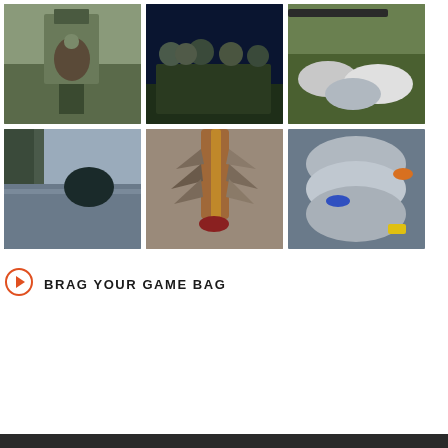[Figure (photo): Person in camouflage gear near a vehicle, hanging upside down, holding a duck or game bird]
[Figure (photo): Group of hunters in camouflage and dark clothing posing together at night in front of a building]
[Figure (photo): Ducks/game birds laid out on grass with a gun visible]
[Figure (photo): Landscape photo showing dark water with trees and sky reflection]
[Figure (photo): Close-up of a duck or bird feathers and beak/bill]
[Figure (photo): Close-up of harvested ducks/geese stacked together with yellow tag visible]
BRAG YOUR GAME BAG